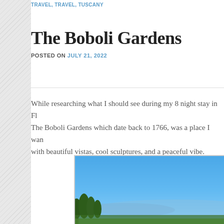TRAVEL, TRAVEL, TUSCANY
The Boboli Gardens
POSTED ON JULY 21, 2022
While researching what I should see during my 8 night stay in Fl... The Boboli Gardens which date back to 1766, was a place I want... with beautiful vistas, cool sculptures, and a peaceful vibe.
[Figure (photo): Outdoor landscape photo showing blue sky and distant trees or hills, appears to be a view from the Boboli Gardens in Florence.]